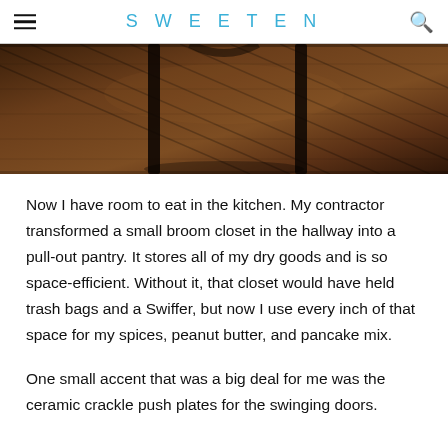SWEETEN
[Figure (photo): Close-up photo of dark walnut hardwood floor with chair legs visible, showing diagonal wood grain pattern with rich brown tones]
Now I have room to eat in the kitchen. My contractor transformed a small broom closet in the hallway into a pull-out pantry. It stores all of my dry goods and is so space-efficient. Without it, that closet would have held trash bags and a Swiffer, but now I use every inch of that space for my spices, peanut butter, and pancake mix.
One small accent that was a big deal for me was the ceramic crackle push plates for the swinging doors.